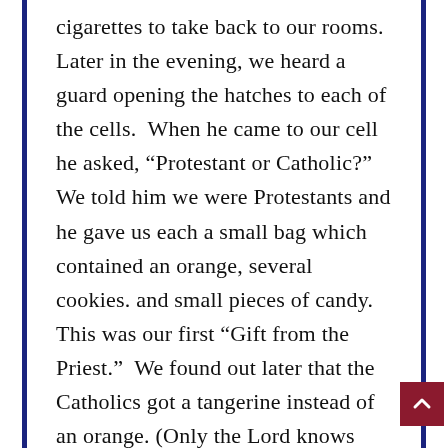cigarettes to take back to our rooms. Later in the evening, we heard a guard opening the hatches to each of the cells. When he came to our cell he asked, “Protestant or Catholic?” We told him we were Protestants and he gave us each a small bag which contained an orange, several cookies. and small pieces of candy. This was our first “Gift from the Priest.” We found out later that the Catholics got a tangerine instead of an orange. (Only the Lord knows why!) One POW who was living by himself told the guard he was neither Protestant